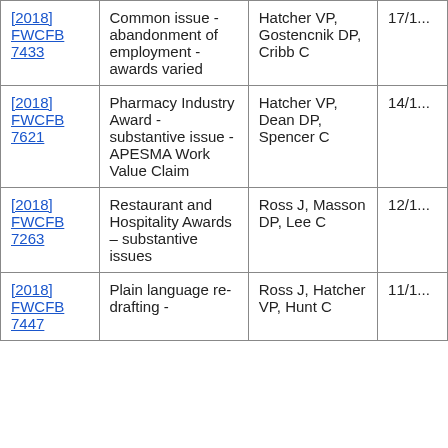| Citation | Description | Panel | Date |
| --- | --- | --- | --- |
| [2018] FWCFB 7433 | Common issue - abandonment of employment - awards varied | Hatcher VP, Gostencnik DP, Cribb C | 17/1... |
| [2018] FWCFB 7621 | Pharmacy Industry Award - substantive issue - APESMA Work Value Claim | Hatcher VP, Dean DP, Spencer C | 14/1... |
| [2018] FWCFB 7263 | Restaurant and Hospitality Awards – substantive issues | Ross J, Masson DP, Lee C | 12/1... |
| [2018] FWCFB 7447 | Plain language re-drafting - | Ross J, Hatcher VP, Hunt C | 11/1... |